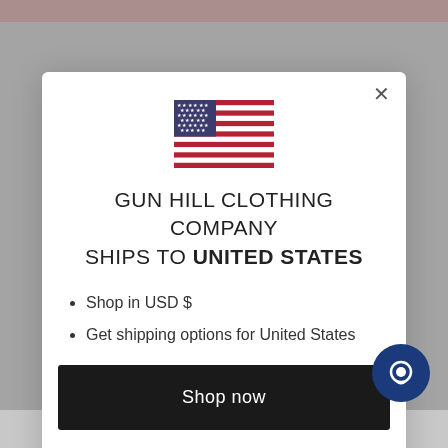[Figure (illustration): US flag SVG illustration centered in modal]
GUN HILL CLOTHING COMPANY SHIPS TO UNITED STATES
Shop in USD $
Get shipping options for United States
Shop now
Change shipping country